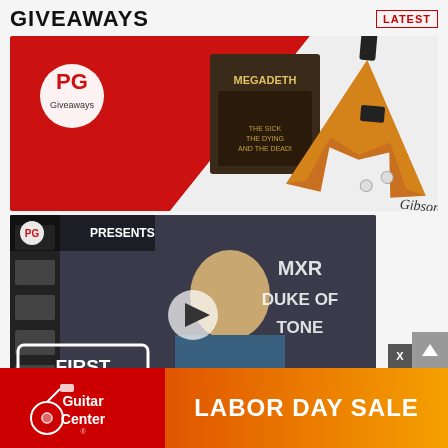GIVEAWAYS
LATEST
[Figure (illustration): PG Giveaways promotional banner with red/white background, Megadeth album art, and a natural finish Gibson Flying V guitar on the right]
[Figure (screenshot): PG Presents video thumbnail - First Look featuring MXR Duke of Tone, person with blonde hair, play button overlay]
Schertler GIULIA X Giveaway
Matt...
Clau... Wren & Cuff...
Sum... ...nix!
[Figure (advertisement): Guitar Center Labor Day Sale advertisement banner with Guitar Center logo on red background and LABOR DAY SALE text on orange gradient]